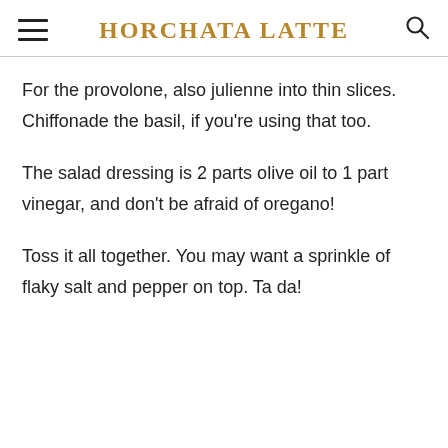HORCHATA LATTE
For the provolone, also julienne into thin slices. Chiffonade the basil, if you're using that too.
The salad dressing is 2 parts olive oil to 1 part vinegar, and don't be afraid of oregano!
Toss it all together. You may want a sprinkle of flaky salt and pepper on top. Ta da!